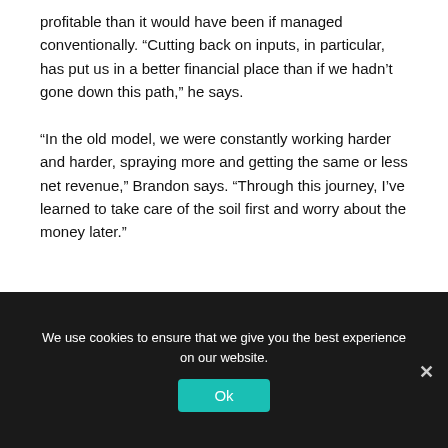profitable than it would have been if managed conventionally. “Cutting back on inputs, in particular, has put us in a better financial place than if we hadn’t gone down this path,” he says.
“In the old model, we were constantly working harder and harder, spraying more and getting the same or less net revenue,” Brandon says. “Through this journey, I’ve learned to take care of the soil first and worry about the money later.”
We use cookies to ensure that we give you the best experience on our website.